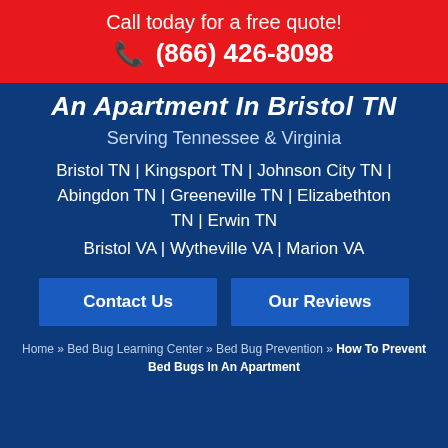Call today for a free quote!
📞 (866) 426-8098
An Apartment In Bristol TN
Serving Tennessee & Virginia
Bristol TN | Kingsport TN | Johnson City TN | Abingdon TN | Greeneville TN | Elizabethton TN | Erwin TN
Bristol VA | Wytheville VA | Marion VA
Contact Us
Our Reviews
Home » Bed Bug Learning Center » Bed Bug Prevention » How To Prevent Bed Bugs In An Apartment